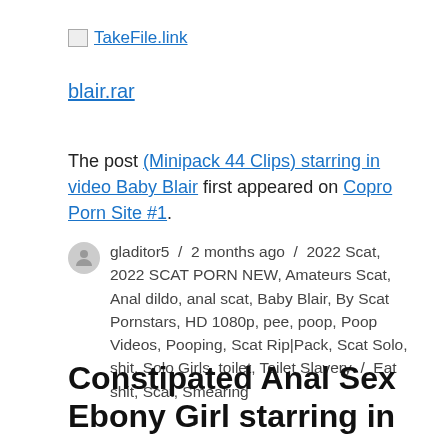[Figure (logo): TakeFile.link logo with small image icon and blue underlined text]
blair.rar
The post (Minipack 44 Clips) starring in video Baby Blair first appeared on Copro Porn Site #1.
gladitor5 / 2 months ago / 2022 Scat, 2022 SCAT PORN NEW, Amateurs Scat, Anal dildo, anal scat, Baby Blair, By Scat Pornstars, HD 1080p, pee, poop, Poop Videos, Pooping, Scat Rip|Pack, Scat Solo, shit, Solo Girls, toilet, Toilet Slavery / Eat shit, Scat, Smearing
Constipated Anal Sex Ebony Girl starring in